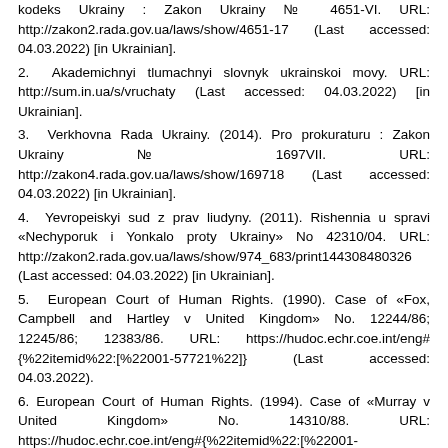kodeks Ukrainy : Zakon Ukrainy № 4651-VI. URL: http://zakon2.rada.gov.ua/laws/show/4651-17 (Last accessed: 04.03.2022) [in Ukrainian].
2. Akademichnyi tlumachnyi slovnyk ukrainskoi movy. URL: http://sum.in.ua/s/vruchaty (Last accessed: 04.03.2022) [in Ukrainian].
3. Verkhovna Rada Ukrainy. (2014). Pro prokuraturu : Zakon Ukrainy № 1697VII. URL: http://zakon4.rada.gov.ua/laws/show/169718 (Last accessed: 04.03.2022) [in Ukrainian].
4. Yevropeiskyi sud z prav liudyny. (2011). Rishennia u spravi «Nechyporuk i Yonkalo proty Ukrainy» No 42310/04. URL: http://zakon2.rada.gov.ua/laws/show/974_683/print144308480326 (Last accessed: 04.03.2022) [in Ukrainian].
5. European Court of Human Rights. (1990). Case of «Fox, Campbell and Hartley v United Kingdom» No. 12244/86; 12245/86; 12383/86. URL: https://hudoc.echr.coe.int/eng#{%22itemid%22:[%22001-57721%22]} (Last accessed: 04.03.2022).
6. European Court of Human Rights. (1994). Case of «Murray v United Kingdom» No. 14310/88. URL: https://hudoc.echr.coe.int/eng#{%22itemid%22:[%22001-